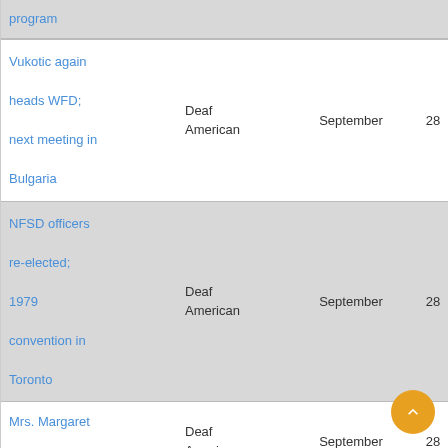| Title | Publication | Month | Day | Page |
| --- | --- | --- | --- | --- |
| program |  |  |  |  |
| Vukotic again heads WFD; next meeting in Bulgaria | Deaf American | September | 28 | 1 |
| NFSD officers re-elected; 1979 convention in Toronto | Deaf American | September | 28 | 1 |
| Mrs. Margaret Elstad passes | Deaf American | September | 28 | 1 |
| Chicago CBS takes title in | Deaf |  |  |  |